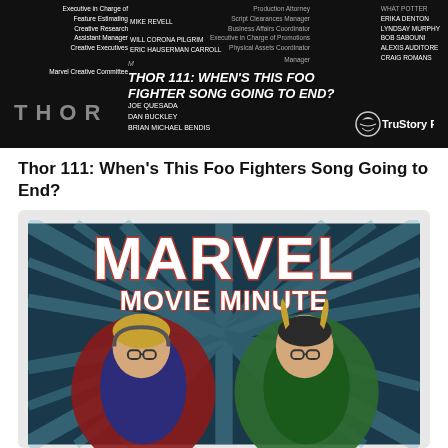[Figure (screenshot): Dark credits screen from Thor film showing production credits on left and right columns, overlaid with podcast episode title 'Thor 111: When's This Foo Fighter Song Going to End?' in bold italic white text, with 'THOR' text in grey on lower left and TruStory FM logo on lower right]
Thor 111: When's This Foo Fighters Song Going to End?
[Figure (illustration): Marvel Movie Minute podcast artwork showing illustrated characters of Thor and Loki depicted as podcasters with glasses, set against a star-burst background with 'MARVEL MOVIE MINUTE' text at top in large bold letters]